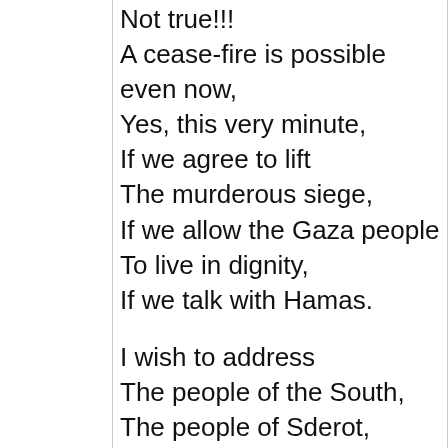Not true!!!
A cease-fire is possible even now,
Yes, this very minute,
If we agree to lift
The murderous siege,
If we allow the Gaza people
To live in dignity,
If we talk with Hamas.

I wish to address
The people of the South,
The people of Sderot,
Ashdod and Beersheba:
We know your anguish –
Even though we don't live with you,
We know well.
But we also know
That this war
Will not change your situation